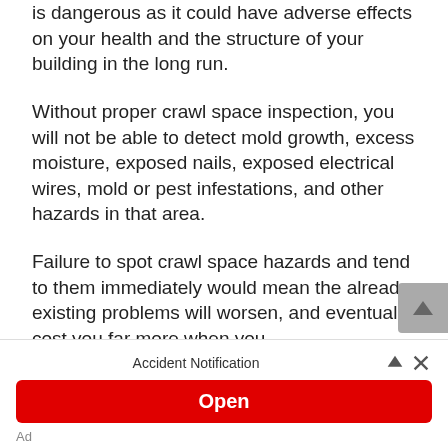is dangerous as it could have adverse effects on your health and the structure of your building in the long run.
Without proper crawl space inspection, you will not be able to detect mold growth, excess moisture, exposed nails, exposed electrical wires, mold or pest infestations, and other hazards in that area.
Failure to spot crawl space hazards and tend to them immediately would mean the already-existing problems will worsen, and eventually cost you far more when you